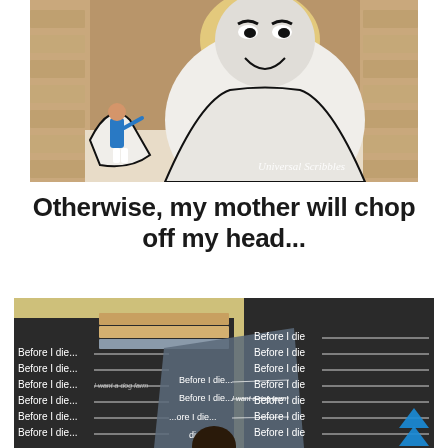[Figure (photo): A child in a blue shirt kneels and appears to punch or interact with a large 2D illustration of a stern-looking giant man (resembling a monk or philosopher), with halos and wall art. Watermark reads 'Universal Scribbles'.]
Otherwise, my mother will chop off my head...
[Figure (photo): A chalk/chalkboard wall with repeated text 'Before I die...' with blank lines, and one filled in reading 'I want a dog farm'. Books are stacked on the left. A person's head is partially visible. A blue upward chevron/caret icon is visible in the lower right.]